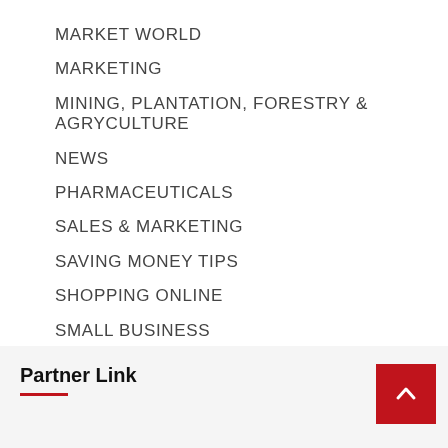MARKET WORLD
MARKETING
MINING, PLANTATION, FORESTRY & AGRYCULTURE
NEWS
PHARMACEUTICALS
SALES & MARKETING
SAVING MONEY TIPS
SHOPPING ONLINE
SMALL BUSINESS
TELECOMMUNICATION
Partner Link